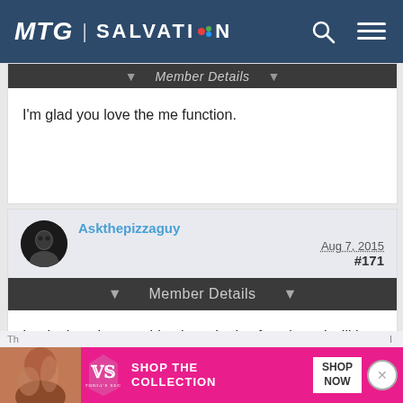MTG | SALVATION
Member Details
I'm glad you love the me function.
Askthepizzaguy    Aug 7, 2015    #171
Member Details
I truly do enjoy watching how the iso functions. I will be up late many a night pushing that button for as long as it takes to give me satisfaction, and in the end, I feel like it would help me understand what's going on between us better.